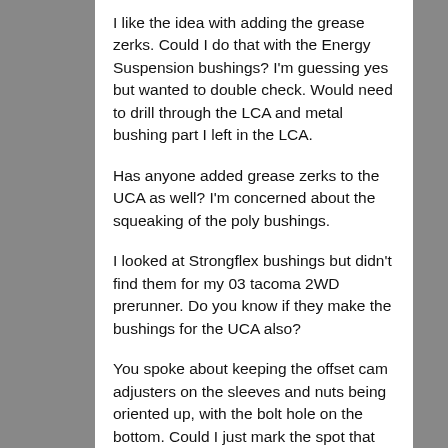I like the idea with adding the grease zerks. Could I do that with the Energy Suspension bushings? I'm guessing yes but wanted to double check. Would need to drill through the LCA and metal bushing part I left in the LCA.
Has anyone added grease zerks to the UCA as well? I'm concerned about the squeaking of the poly bushings.
I looked at Strongflex bushings but didn't find them for my 03 tacoma 2WD prerunner. Do you know if they make the bushings for the UCA also?
You spoke about keeping the offset cam adjusters on the sleeves and nuts being oriented up, with the bolt hole on the bottom. Could I just mark the spot that the old ones were at and put them back to the same setting to be somewhat close or is the new bushings going to throw it way off anyway that it doesn't matter.
For longevity purposes, which bushings will last the